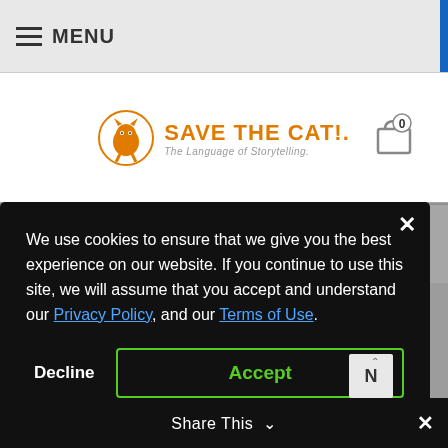≡ MENU
[Figure (logo): Save The Cat! The Language of Storytelling logo with orange cat icon]
BEAT SHEETS
We use cookies to ensure that we give you the best experience on our website. If you continue to use this site, we will assume that you accept and understand our Privacy Policy, and our Terms of Use.
Decline  Accept
Share This